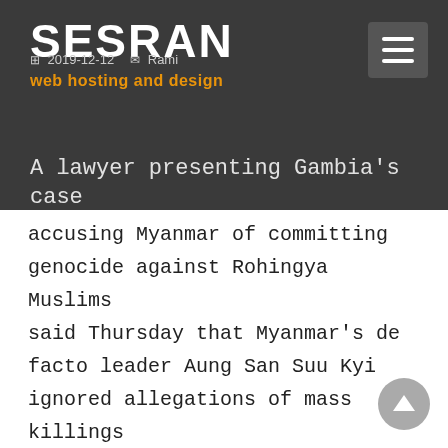SESRAN web hosting and design
2019-12-12  Rami
A lawyer presenting Gambia's case accusing Myanmar of committing genocide against Rohingya Muslims said Thursday that Myanmar's de facto leader Aung San Suu Kyi ignored allegations of mass killings and rape as she led her country's defense before the U.N.'s top court.
Paul Reichler told the International Court of Justice in The Hague Myanmar was choosing to ignore the